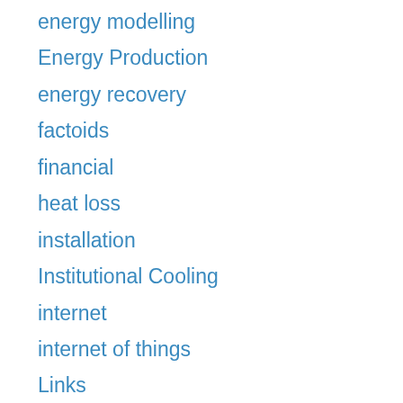energy modelling
Energy Production
energy recovery
factoids
financial
heat loss
installation
Institutional Cooling
internet
internet of things
Links
manufacturing
network
new products
news